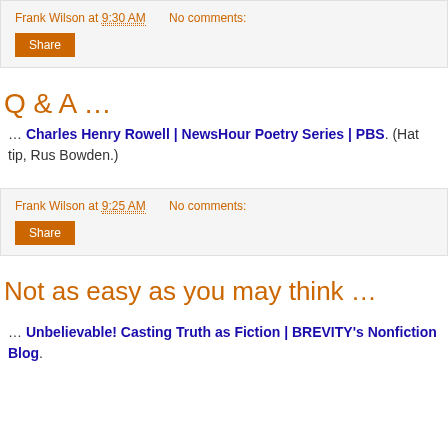Frank Wilson at 9:30 AM   No comments:
Share
Q & A …
… Charles Henry Rowell | NewsHour Poetry Series | PBS. (Hat tip, Rus Bowden.)
Frank Wilson at 9:25 AM   No comments:
Share
Not as easy as you may think …
… Unbelievable! Casting Truth as Fiction | BREVITY's Nonfiction Blog.